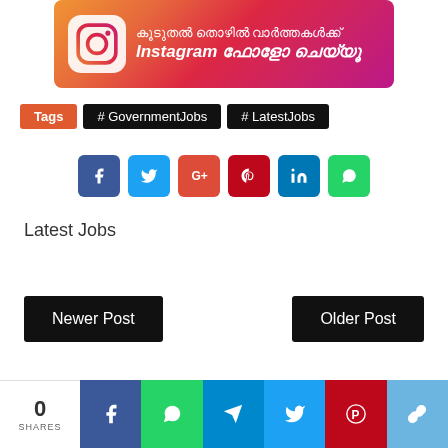[Figure (infographic): Instagram promotional banner with gradient background and Malayalam text: കൂടുതൽ തൊഴിൽ വാർത്തകൾക്ക് Instagram ഫോളോ ചെയ്യൂ]
Tags  # GovernmentJobs  # LatestJobs
[Figure (infographic): Row of social share buttons: Facebook (blue), Twitter (light blue), Google+ (red), Pinterest (dark red), LinkedIn (blue), WhatsApp (green)]
Latest Jobs
Newer Post
Older Post
[Figure (infographic): Bottom share bar showing 0 SHARES and social icons: Facebook, WhatsApp, Telegram, Twitter, Pinterest, Copy link]